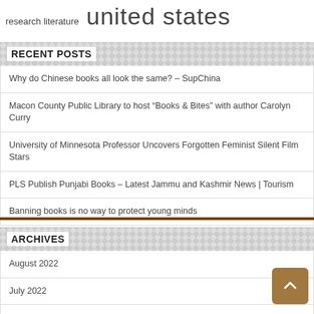research literature  united states
RECENT POSTS
Why do Chinese books all look the same? – SupChina
Macon County Public Library to host “Books & Bites” with author Carolyn Curry
University of Minnesota Professor Uncovers Forgotten Feminist Silent Film Stars
PLS Publish Punjabi Books – Latest Jammu and Kashmir News | Tourism
Banning books is no way to protect young minds
ARCHIVES
August 2022
July 2022
June 2022